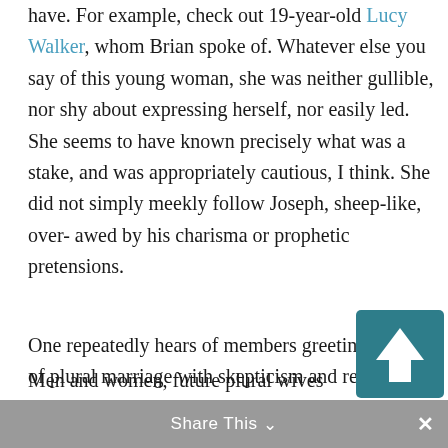have. For example, check out 19-year-old Lucy Walker, whom Brian spoke of. Whatever else you say of this young woman, she was neither gullible, nor shy about expressing herself, nor easily led. She seems to have known precisely what was a stake, and was appropriately cautious, I think. She did not simply meekly follow Joseph, sheep-like, over-awed by his charisma or prophetic pretensions.
One repeatedly hears of members greeting the idea of plural marriage with skepticism and revulsion, as you would expect.
Men and women, future plural wives
[Figure (other): Teal/dark cyan square button with white upward-pointing arrow, used as a scroll-to-top control]
Share This ∨  ×